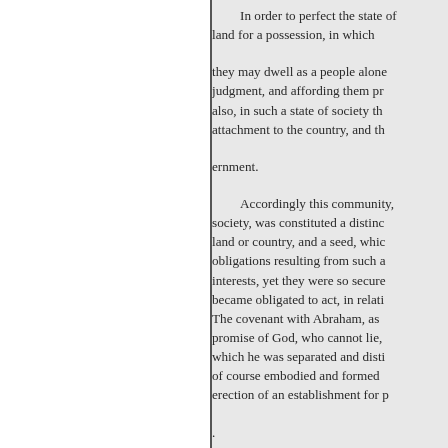In order to perfect the state of land for a possession, in which they may dwell as a people alone, judgment, and affording them pr also, in such a state of society th attachment to the country, and th ernment. Accordingly this community, society, was constituted a distinc land or country, and a seed, whic obligations resulting from such a interests, yet they were so secure became obligated to act, in relati The covenant with Abraham, as promise of God, who cannot lie, which he was separated and disti of course embodied and formed erection of an establishment for p . Wherefore, being thus called a